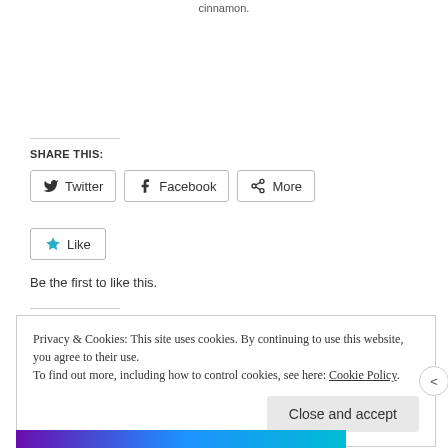cinnamon.
SHARE THIS:
Twitter  Facebook  More
Like
Be the first to like this.
Privacy & Cookies: This site uses cookies. By continuing to use this website, you agree to their use.
To find out more, including how to control cookies, see here: Cookie Policy
Close and accept